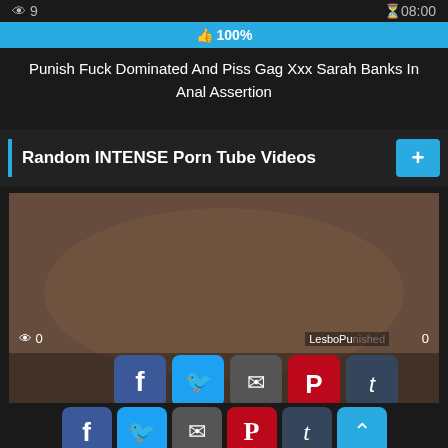9   08:00
100%
Punish Fuck Dominated And Piss Gag Xxx Sarah Banks In Anal Assertion
Random INTENSE Porn Tube Videos
[Figure (photo): Video thumbnail showing adult content with social sharing buttons overlay including Facebook, Twitter, Email, Pinterest, Tumblr, scroll-up, Reddit, Blogger, WordPress, VK, and plus buttons]
0